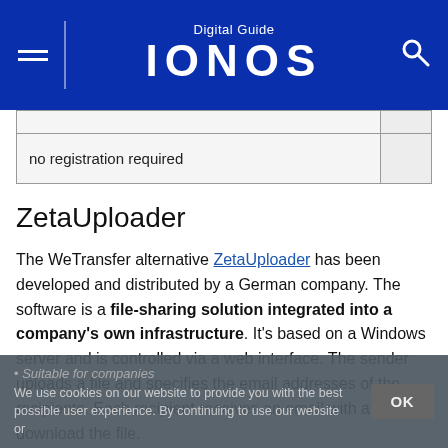Digital Guide IONOS
|  |  |
| no registration required |  |
ZetaUploader
The WeTransfer alternative ZetaUploader has been developed and distributed by a German company. The software is a file-sharing solution integrated into a company's own infrastructure. It's based on a Windows server and is controlled via a web interface. The sender uploads a file and specifies the email addresses of the recipients. Each recipient receives an email with a link to download the file.
• Suitable for companies
We use cookies on our website to provide you with the best possible user experience. By continuing to use our website or